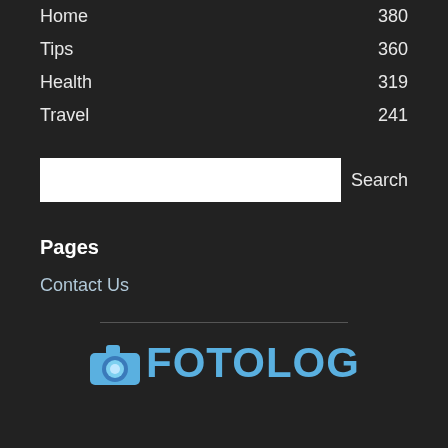Home 380
Tips 360
Health 319
Travel 241
[Figure (screenshot): Search input box with Search button]
Pages
Contact Us
[Figure (logo): FOTOLOG logo with camera icon in light blue]